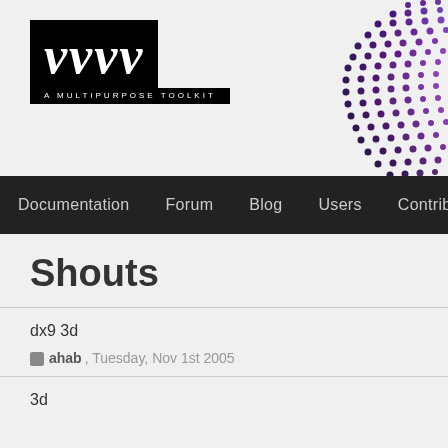[Figure (logo): vvvv logo - white italic letters on black background with subtitle 'A MULTIPURPOSE TOOLKIT']
[Figure (illustration): Decorative purple/blue dotted pattern in top-right corner]
Documentation  Forum  Blog  Users  Contributions
Shouts
dx9 3d
ahab, Tuesday, Nov 1st 2005
3d